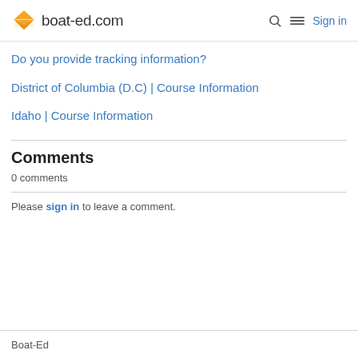boat-ed.com  Sign in
Do you provide tracking information?
District of Columbia (D.C) | Course Information
Idaho | Course Information
Comments
0 comments
Please sign in to leave a comment.
Boat-Ed